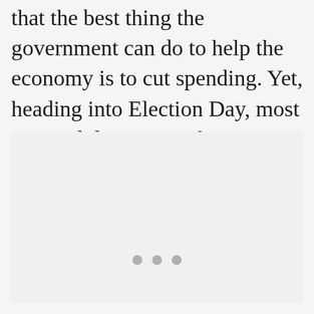that the best thing the government can do to help the economy is to cut spending. Yet, heading into Election Day, most voters didn't expect that to happen regardless of whether the president was re-elected or Mitt Romney emerged victorious.
[Figure (other): A light gray placeholder box with three small gray dots centered near the bottom, indicating a loading or placeholder image/chart area.]